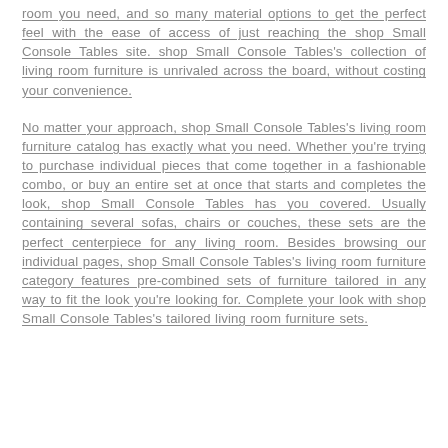room you need, and so many material options to get the perfect feel with the ease of access of just reaching the shop Small Console Tables site. shop Small Console Tables's collection of living room furniture is unrivaled across the board, without costing your convenience.
No matter your approach, shop Small Console Tables's living room furniture catalog has exactly what you need. Whether you're trying to purchase individual pieces that come together in a fashionable combo, or buy an entire set at once that starts and completes the look, shop Small Console Tables has you covered. Usually containing several sofas, chairs or couches, these sets are the perfect centerpiece for any living room. Besides browsing our individual pages, shop Small Console Tables's living room furniture category features pre-combined sets of furniture tailored in any way to fit the look you're looking for. Complete your look with shop Small Console Tables's tailored living room furniture sets.